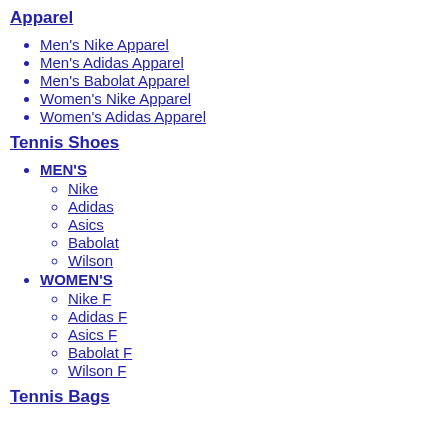Apparel
Men's Nike Apparel
Men's Adidas Apparel
Men's Babolat Apparel
Women's Nike Apparel
Women's Adidas Apparel
Tennis Shoes
MEN'S
Nike
Adidas
Asics
Babolat
Wilson
WOMEN'S
Nike F
Adidas F
Asics F
Babolat F
Wilson F
Tennis Bags